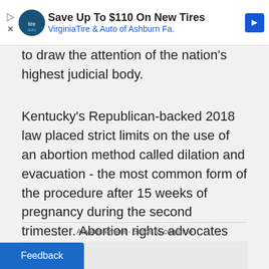[Figure (screenshot): Advertisement banner: Save Up To $110 On New Tires - VirginiaTire & Auto of Ashburn Fa.]
to draw the attention of the nation's highest judicial body.
Kentucky's Republican-backed 2018 law placed strict limits on the use of an abortion method called dilation and evacuation - the most common form of the procedure after 15 weeks of pregnancy during the second trimester. Abortion rights advocates have said the law would effectively ban the procedure, though its proponents denied that it was a ban.
Advertisement · Scroll to continue
[Figure (other): Advertisement placeholder gray box]
Feedback